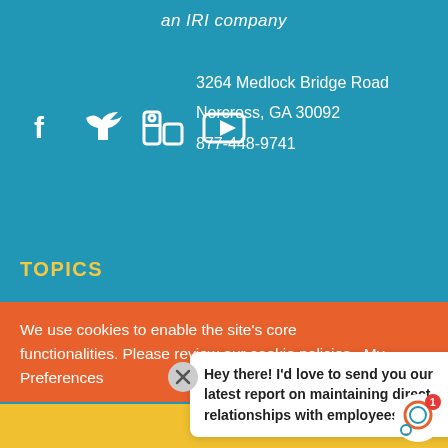an IRI company
3264 Medlock Bridge Road
Norcross, GA 30092
877-448-9741
[Figure (infographic): Social media icons: Facebook, Twitter, LinkedIn, YouTube - white icons on teal background]
TOPICS
We use cookies to enable the site's core functionalities. Please review our cookie policies. My Preferences
Hey there! I'd love to send you our latest report on maintaining direct relationships with employees...